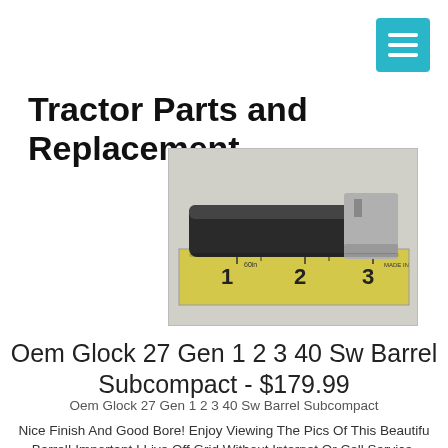Tractor Parts and Replacement
[Figure (photo): Photo of an OEM Glock 27 barrel lying on a ruler/tape measure showing approximately 3 inches length. The barrel is black/dark with a silver metal breech end.]
Oem Glock 27 Gen 1 2 3 40 Sw Barrel Subcompact - $179.99
Oem Glock 27 Gen 1 2 3 40 Sw Barrel Subcompact
Nice Finish And Good Bore! Enjoy Viewing The Pics Of This Beautiful Barrel! Important I Live Off Grid Without Internet Or Cell Service.